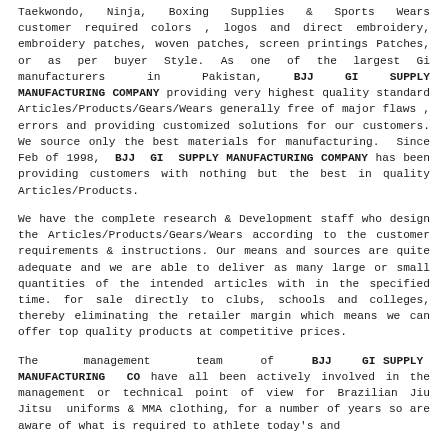Taekwondo, Ninja, Boxing Supplies & Sports Wears customer required colors , logos and direct embroidery, embroidery patches, woven patches, screen printings Patches, or as per buyer Style. As one of the largest Gi manufacturers in Pakistan, BJJ GI SUPPLY MANUFACTURING COMPANY providing very highest quality standard Articles/Products/Gears/Wears generally free of major flaws , errors and providing customized solutions for our customers. We source only the best materials for manufacturing. Since Feb of 1998, BJJ GI SUPPLY MANUFACTURING COMPANY has been providing customers with nothing but the best in quality Articles/Products.
We have the complete research & Development staff who design the Articles/Products/Gears/Wears according to the customer requirements & instructions. Our means and sources are quite adequate and we are able to deliver as many large or small quantities of the intended articles with in the specified time. for sale directly to clubs, schools and colleges, thereby eliminating the retailer margin which means we can offer top quality products at competitive prices.
The management team of BJJ GI SUPPLY MANUFACTURING CO have all been actively involved in the management or technical point of view for Brazilian Jiu Jitsu uniforms & MMA clothing, for a number of years so are aware of what is required to athlete today's and